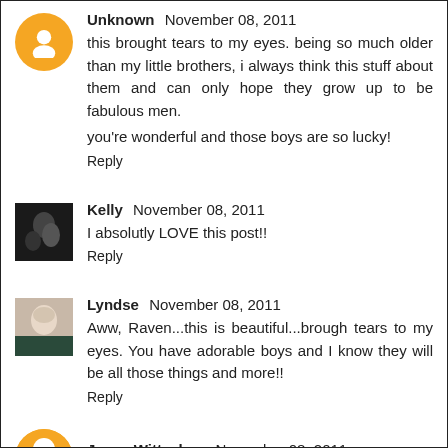[Figure (photo): Blogger avatar: orange circle with white person silhouette icon]
Unknown  November 08, 2011
this brought tears to my eyes. being so much older than my little brothers, i always think this stuff about them and can only hope they grow up to be fabulous men.

you're wonderful and those boys are so lucky!

Reply
[Figure (photo): Small dark photo of Kelly]
Kelly  November 08, 2011
I absolutly LOVE this post!!

Reply
[Figure (photo): Small photo of Lyndse, woman with blonde hair]
Lyndse  November 08, 2011
Aww, Raven...this is beautiful...brough tears to my eyes. You have adorable boys and I know they will be all those things and more!!

Reply
[Figure (photo): Partial orange avatar for Jayne Wittschen]
Jayne Wittschen  November 08, 2011